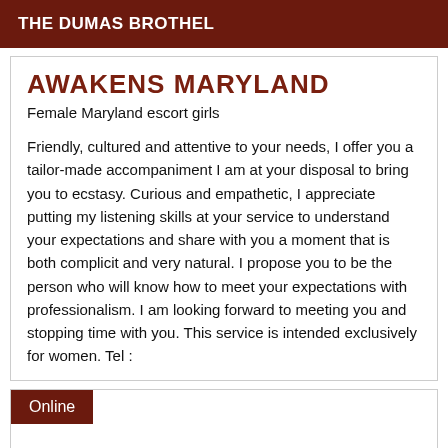THE DUMAS BROTHEL
AWAKENS MARYLAND
Female Maryland escort girls
Friendly, cultured and attentive to your needs, I offer you a tailor-made accompaniment I am at your disposal to bring you to ecstasy. Curious and empathetic, I appreciate putting my listening skills at your service to understand your expectations and share with you a moment that is both complicit and very natural. I propose you to be the person who will know how to meet your expectations with professionalism. I am looking forward to meeting you and stopping time with you. This service is intended exclusively for women. Tel :
Online